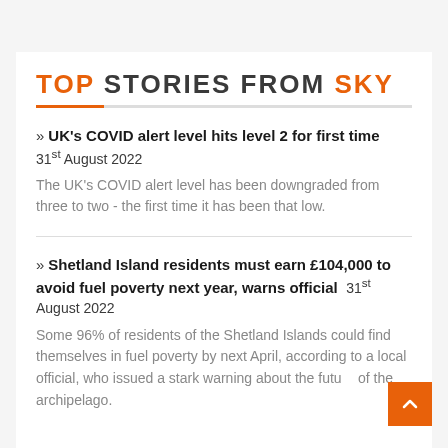TOP STORIES FROM SKY
» UK's COVID alert level hits level 2 for first time  31st August 2022
The UK's COVID alert level has been downgraded from three to two - the first time it has been that low.
» Shetland Island residents must earn £104,000 to avoid fuel poverty next year, warns official  31st August 2022
Some 96% of residents of the Shetland Islands could find themselves in fuel poverty by next April, according to a local official, who issued a stark warning about the future of the archipelago.